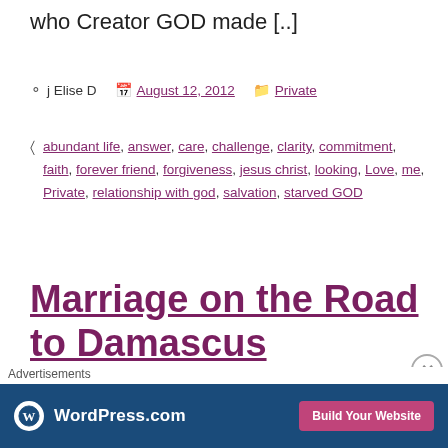who Creator GOD made [..]
j Elise D   August 12, 2012   Private
Tags: abundant life, answer, care, challenge, clarity, commitment, faith, forever friend, forgiveness, jesus christ, looking, Love, me, Private, relationship with god, salvation, starved GOD
Marriage on the Road to Damascus
Advertisements  WordPress.com  Build Your Website